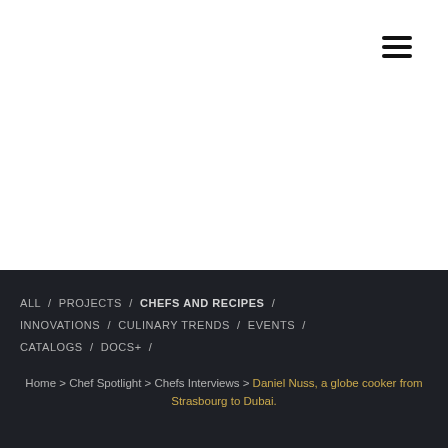≡
ALL / PROJECTS / CHEFS AND RECIPES / INNOVATIONS / CULINARY TRENDS / EVENTS / CATALOGS / DOCS+ /
Home > Chef Spotlight > Chefs Interviews > Daniel Nuss, a globe cooker from Strasbourg to Dubai.